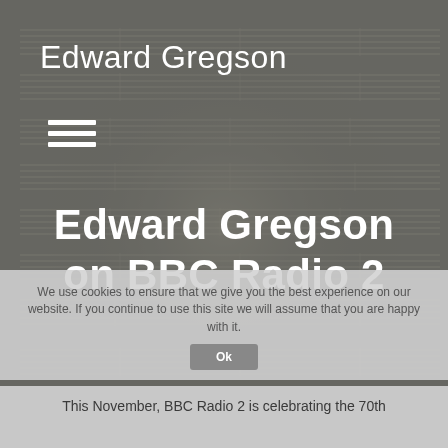Edward Gregson
[Figure (illustration): Background photograph of musical score sheets, overlaid with dark semi-transparent layer giving a moody effect]
Edward Gregson on BBC Radio 2
We use cookies to ensure that we give you the best experience on our website. If you continue to use this site we will assume that you are happy with it.
Ok
This November, BBC Radio 2 is celebrating the 70th